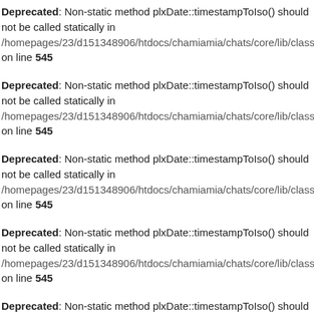Deprecated: Non-static method plxDate::timestampToIso() should not be called statically in /homepages/23/d151348906/htdocs/chamiamia/chats/core/lib/class.plx.motor.p on line 545
Deprecated: Non-static method plxDate::timestampToIso() should not be called statically in /homepages/23/d151348906/htdocs/chamiamia/chats/core/lib/class.plx.motor.p on line 545
Deprecated: Non-static method plxDate::timestampToIso() should not be called statically in /homepages/23/d151348906/htdocs/chamiamia/chats/core/lib/class.plx.motor.p on line 545
Deprecated: Non-static method plxDate::timestampToIso() should not be called statically in /homepages/23/d151348906/htdocs/chamiamia/chats/core/lib/class.plx.motor.p on line 545
Deprecated: Non-static method plxDate::timestampToIso() should not be called statically in